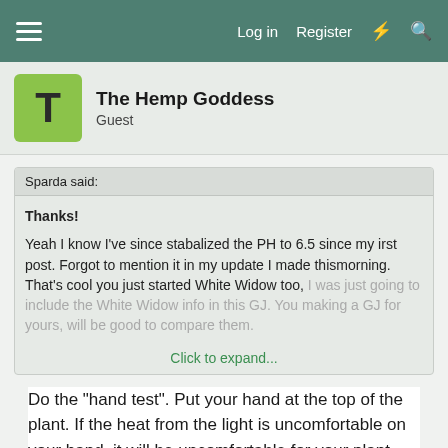Log in  Register
The Hemp Goddess
Guest
Sparda said:
Thanks!

Yeah I know I've since stabalized the PH to 6.5 since my irst post. Forgot to mention it in my update I made thismorning. That's cool you just started White Widow too, I was just going to include the White Widow info in this GJ. You making a GJ for yours, will be good to compare them.
Click to expand...
Do the "hand test". Put your hand at the top of the plant. If the heat from the light is uncomfortable on your hand, it will be uncomfortable for your plant also. There is no benefit to spraying the leaves.